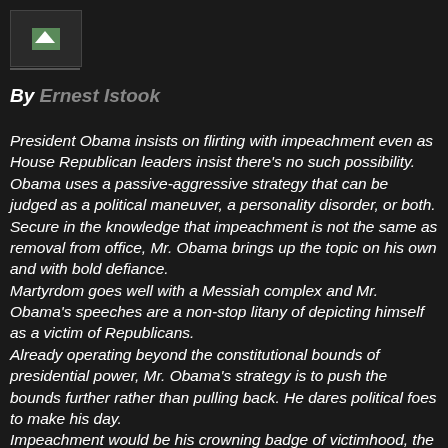[Figure (logo): Small logo image placeholder in top-left corner]
By Ernest Istook
President Obama insists on flirting with impeachment even as House Republican leaders insist there's no such possibility. Obama uses a passive-aggressive strategy that can be judged as a political maneuver, a personality disorder, or both. Secure in the knowledge that impeachment is not the same as removal from office, Mr. Obama brings up the topic on his own and with bold defiance. Martyrdom goes well with a Messiah complex and Mr. Obama's speeches are a non-stop litany of depicting himself as a victim of Republicans. Already operating beyond the constitutional bounds of presidential power, Mr. Obama's strategy is to push the bounds further rather than pulling back. He dares political foes to make his day. Impeachment would be his crowning badge of victimhood, the ultimate symbol to rally his base, asking that they protect him by guaranteeing a